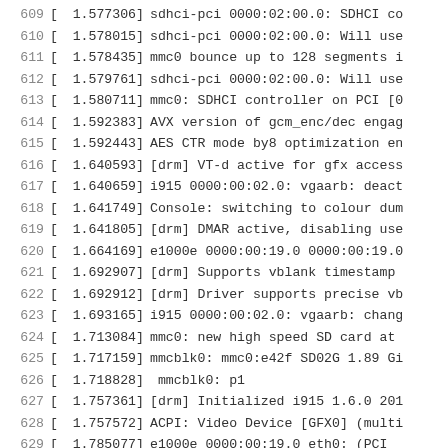609 [ 1.577306] sdhci-pci 0000:02:00.0: SDHCI co
610 [ 1.578015] sdhci-pci 0000:02:00.0: Will use
611 [ 1.578435] mmc0 bounce up to 128 segments i
612 [ 1.579761] sdhci-pci 0000:02:00.0: Will use
613 [ 1.580711] mmc0: SDHCI controller on PCI [0
614 [ 1.592383] AVX version of gcm_enc/dec engag
615 [ 1.592443] AES CTR mode by8 optimization en
616 [ 1.640593] [drm] VT-d active for gfx access
617 [ 1.640659] i915 0000:00:02.0: vgaarb: deact
618 [ 1.641749] Console: switching to colour dum
619 [ 1.641805] [drm] DMAR active, disabling use
620 [ 1.664169] e1000e 0000:00:19.0 0000:00:19.0
621 [ 1.692907] [drm] Supports vblank timestamp
622 [ 1.692912] [drm] Driver supports precise vb
623 [ 1.693165] i915 0000:00:02.0: vgaarb: chang
624 [ 1.713084] mmc0: new high speed SD card at
625 [ 1.717159] mmcblk0: mmc0:e42f SD02G 1.89 Gi
626 [ 1.718828] mmcblk0: p1
627 [ 1.757361] [drm] Initialized i915 1.6.0 201
628 [ 1.757572] ACPI: Video Device [GFX0] (multi
629 [ 1.785077] e1000e 0000:00:19.0 eth0: (PCI